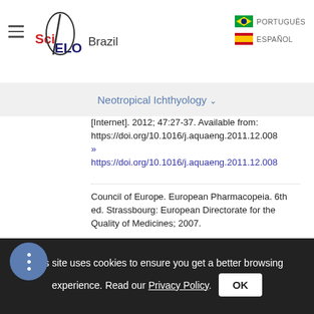[Figure (logo): SciELO Brazil logo with hamburger menu icon]
Neotropical Ichthyology ▾
[Internet]. 2012; 47:27-37. Available from: https://doi.org/10.1016/j.aquaeng.2011.12.008
» https://doi.org/10.1016/j.aquaeng.2011.12.008
Council of Europe. European Pharmacopeia. 6th ed. Strassbourg: European Directorate for the Quality of Medicines; 2007.
Costa CARA, Cury TC, Cassettan BO, Takahira RK, Flório JC, Costa M. Citrus aurantium L. essential oil exhibits anxiolytic-
This site uses cookies to ensure you get a better browsing experience. Read our Privacy Policy.